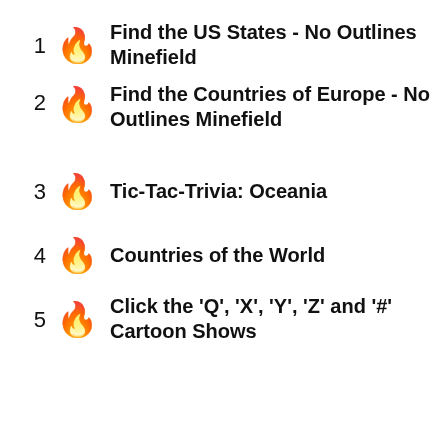1 🔥 Find the US States - No Outlines Minefield
2 🔥 Find the Countries of Europe - No Outlines Minefield
3 🔥 Tic-Tac-Trivia: Oceania
4 🔥 Countries of the World
5 🔥 Click the 'Q', 'X', 'Y', 'Z' and '#' Cartoon Shows